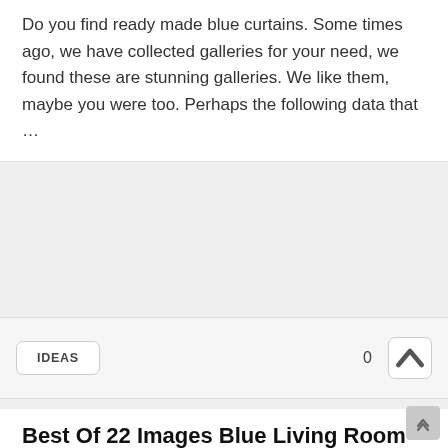Do you find ready made blue curtains. Some times ago, we have collected galleries for your need, we found these are stunning galleries. We like them, maybe you were too. Perhaps the following data that ...
IDEAS   0
Best Of 22 Images Blue Living Room Curtains